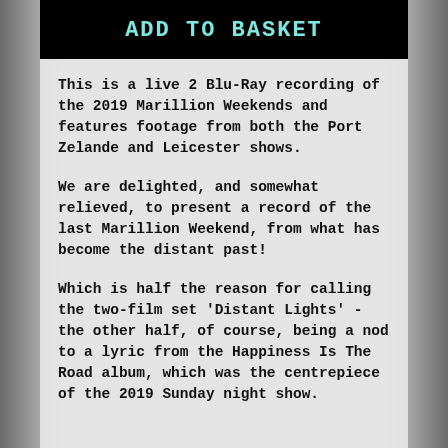ADD TO BASKET
This is a live 2 Blu-Ray recording of the 2019 Marillion Weekends and features footage from both the Port Zelande and Leicester shows.
We are delighted, and somewhat relieved, to present a record of the last Marillion Weekend, from what has become the distant past!
Which is half the reason for calling the two-film set 'Distant Lights' - the other half, of course, being a nod to a lyric from the Happiness Is The Road album, which was the centrepiece of the 2019 Sunday night show.